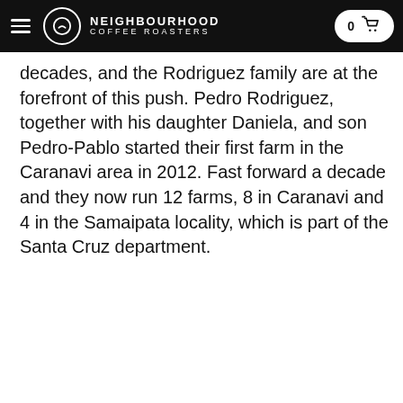NEIGHBOURHOOD COFFEE ROASTERS
decades, and the Rodriguez family are at the forefront of this push. Pedro Rodriguez, together with his daughter Daniela, and son Pedro-Pablo started their first farm in the Caranavi area in 2012. Fast forward a decade and they now run 12 farms, 8 in Caranavi and 4 in the Samaipata locality, which is part of the Santa Cruz department.